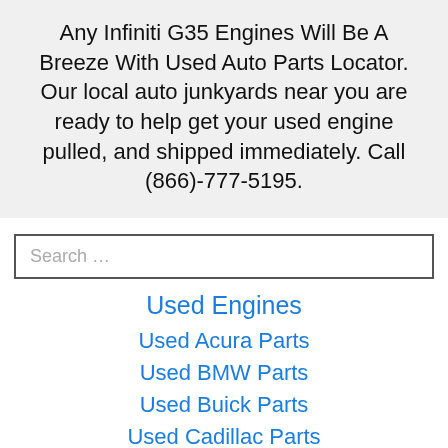Any Infiniti G35 Engines Will Be A Breeze With Used Auto Parts Locator. Our local auto junkyards near you are ready to help get your used engine pulled, and shipped immediately. Call (866)-777-5195.
Search …
Used Engines
Used Acura Parts
Used BMW Parts
Used Buick Parts
Used Cadillac Parts
Used Chevy Parts